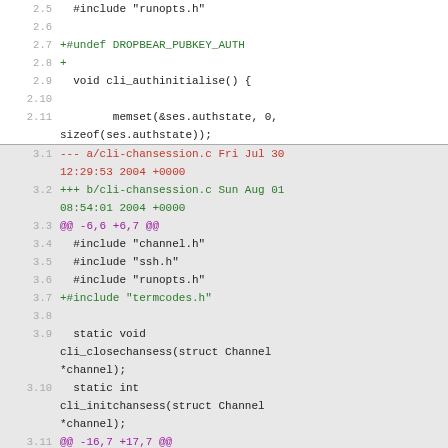Code diff showing changes to cli-auth and cli-chansession files
[Figure (screenshot): Code diff view showing two sections: lines 2.5–2.11 (white background) and lines 3.1–3.13 (grey background), displaying file diffs for cli-auth and cli-chansession.c with line numbers, added lines in green, removed lines in red, and context markers in magenta.]